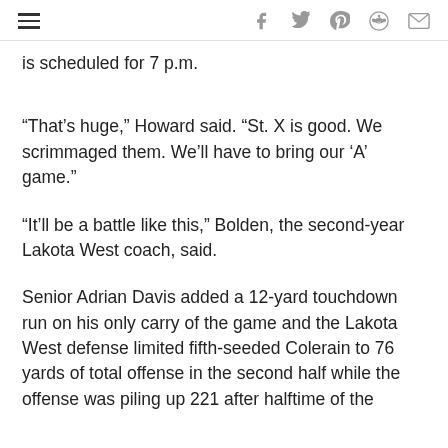[navigation and social share icons]
is scheduled for 7 p.m.
“That’s huge,” Howard said. “St. X is good. We scrimmaged them. We’ll have to bring our ‘A’ game.”
“It’ll be a battle like this,” Bolden, the second-year Lakota West coach, said.
Senior Adrian Davis added a 12-yard touchdown run on his only carry of the game and the Lakota West defense limited fifth-seeded Colerain to 76 yards of total offense in the second half while the offense was piling up 221 after halftime of the